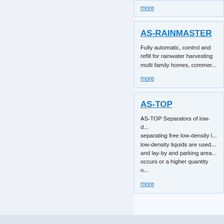more
AS-RAINMASTER
Fully automatic, control and refill for rainwater harvesting multi family homes, commer...
more
AS-TOP
AS-TOP Separators of low-d... separating free low-density liquids are used... and lay-by and parking area... occurs or a higher quantity o...
more